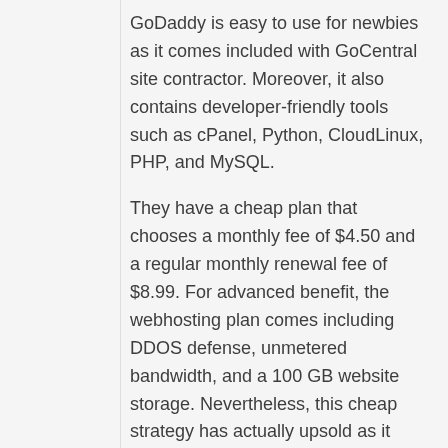GoDaddy is easy to use for newbies as it comes included with GoCentral site contractor. Moreover, it also contains developer-friendly tools such as cPanel, Python, CloudLinux, PHP, and MySQL.
They have a cheap plan that chooses a monthly fee of $4.50 and a regular monthly renewal fee of $8.99. For advanced benefit, the webhosting plan comes including DDOS defense, unmetered bandwidth, and a 100 GB website storage. Nevertheless, this cheap strategy has actually upsold as it doesn't incorporate site backups, e-mail accounts, and SSL certificates.
Functions